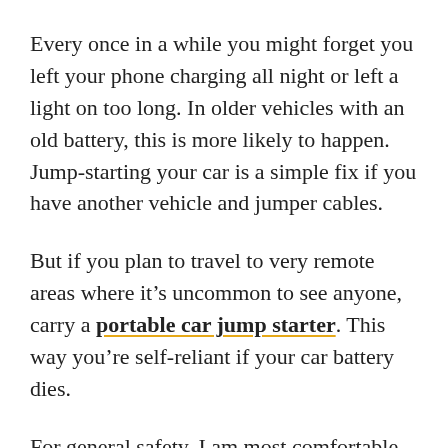Every once in a while you might forget you left your phone charging all night or left a light on too long. In older vehicles with an old battery, this is more likely to happen. Jump-starting your car is a simple fix if you have another vehicle and jumper cables.
But if you plan to travel to very remote areas where it's uncommon to see anyone, carry a portable car jump starter. This way you're self-reliant if your car battery dies.
For general safety, I am most comfortable knowing my battery is in good condition.